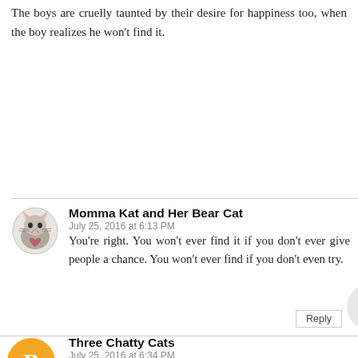The boys are cruelly taunted by their desire for happiness too, when the boy realizes he won't find it.
Reply
Momma Kat and Her Bear Cat
July 25, 2016 at 6:13 PM
You're right. You won't ever find it if you don't ever give people a chance. You won't ever find if you don't even try.
Three Chatty Cats
July 25, 2016 at 6:34 PM
Teehee, Bear, it's okay! It's just a phone call. Sometimes your momma needs to talk to a human